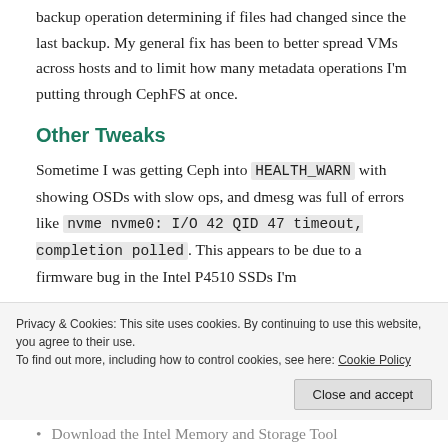backup operation determining if files had changed since the last backup. My general fix has been to better spread VMs across hosts and to limit how many metadata operations I'm putting through CephFS at once.
Other Tweaks
Sometime I was getting Ceph into HEALTH_WARN with showing OSDs with slow ops, and dmesg was full of errors like nvme nvme0: I/O 42 QID 47 timeout, completion polled. This appears to be due to a firmware bug in the Intel P4510 SSDs I'm
Privacy & Cookies: This site uses cookies. By continuing to use this website, you agree to their use.
To find out more, including how to control cookies, see here: Cookie Policy
Download the Intel Memory and Storage Tool